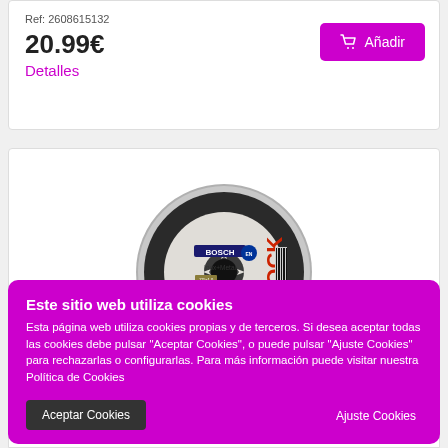Ref: 2608615132
20.99€
Detalles
[Figure (photo): Bosch X-Lock cutting disc for Inox and Metal, circular abrasive disc with center hole and X-Lock mounting system, black and grey body with red X-LOCK branding]
Este sitio web utiliza cookies
Esta página web utiliza cookies propias y de terceros. Si desea aceptar todas las cookies debe pulsar "Aceptar Cookies", o puede pulsar "Ajuste Cookies" para rechazarlas o configurarlas. Para más información puede visitar nuestra Política de Cookies
Aceptar Cookies
Ajuste Cookies
Ref: 2608619265